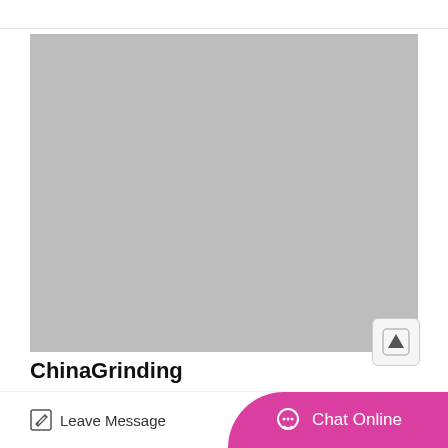[Figure (photo): Large gray placeholder image representing a product photo]
ChinaGrinding
Ballmanufacturer.Grinding Ball Ste...
Leave Message
Chat Online